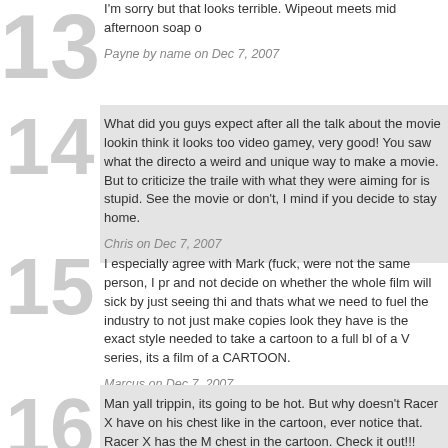13. I'm sorry but that looks terrible. Wipeout meets mid afternoon soap ...
Payne by name on Dec 7, 2007
14. What did you guys expect after all the talk about the movie lookin... think it looks too video gamey, very good! You saw what the directo... a weird and unique way to make a movie. But to criticize the traile... with what they were aiming for is stupid. See the movie or don't, I... mind if you decide to stay home.
Chris on Dec 7, 2007
15. I especially agree with Mark (fuck, were not the same person, I pr... and not decide on whether the whole film will sick by just seeing thi... and thats what we need to fuel the industry to not just make copies... look they have is the exact style needed to take a cartoon to a full bl... of a V series, its a film of a CARTOON.
Marcus on Dec 7, 2007
16. Man yall trippin, its going to be hot. But why doesn't Racer X have... on his chest like in the cartoon, ever notice that. Racer X has the M... chest in the cartoon. Check it out!!! Racer X is still the man. "Little... Racer X, Racer X!!!!!